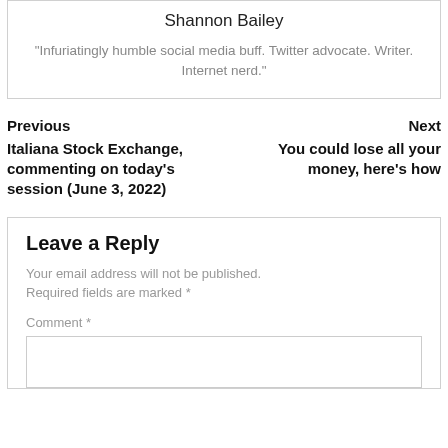Shannon Bailey
"Infuriatingly humble social media buff. Twitter advocate. Writer. Internet nerd."
Previous
Italiana Stock Exchange, commenting on today's session (June 3, 2022)
Next
You could lose all your money, here's how
Leave a Reply
Your email address will not be published. Required fields are marked *
Comment *